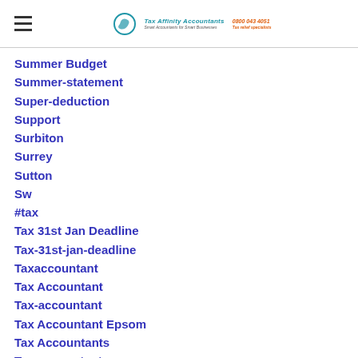Tax Affinity Accountants — 0800 045 4051
Summer Budget
Summer-statement
Super-deduction
Support
Surbiton
Surrey
Sutton
Sw
#tax
Tax 31st Jan Deadline
Tax-31st-jan-deadline
Taxaccountant
Tax Accountant
Tax-accountant
Tax Accountant Epsom
Tax Accountants
Tax-accountants
Tax Accountants E…